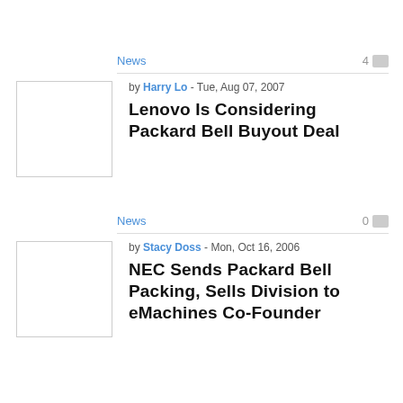News
4
[Figure (photo): Thumbnail image placeholder for article 1]
by Harry Lo - Tue, Aug 07, 2007
Lenovo Is Considering Packard Bell Buyout Deal
News
0
[Figure (photo): Thumbnail image placeholder for article 2]
by Stacy Doss - Mon, Oct 16, 2006
NEC Sends Packard Bell Packing, Sells Division to eMachines Co-Founder